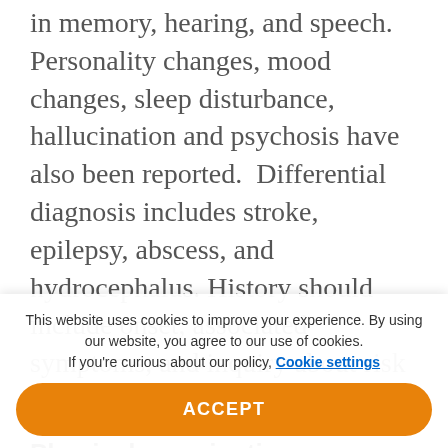in memory, hearing, and speech. Personality changes, mood changes, sleep disturbance, hallucination and psychosis have also been reported. Differential diagnosis includes stroke, epilepsy, abscess, and hydrocephalus. History should include onset, associated symptoms, and inquiry about risk factors.
Physical examination
A physical exam may help determine localization. A careful, comprehensive
This website uses cookies to improve your experience. By using our website, you agree to our use of cookies.
If you're curious about our policy, Cookie settings
ACCEPT